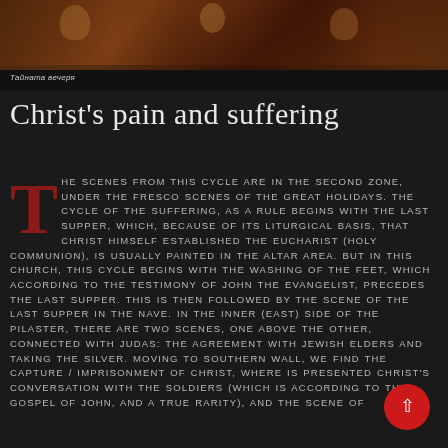[Figure (photo): Top portion shows a dark Byzantine fresco or painting, with a caption label 'Тайната вечеря' (The Last Supper) in white text on a dark bar below the image.]
Christ's pain and suffering
The scenes from this cycle are in the second zone, under the fresco scenes of the Great holidays. The cycle of the suffering, as a rule begins with the Last Supper, which, because of its liturgical basis, that Christ himself established the Eucharist (Holy Communion), is usually painted in the altar area. But in this church, this cycle begins with the washing of the feet, which according to the testimony of John the Evangelist, precedes the Last Supper. This is then followed by the scene of the Last Supper in the nave. In the inner (east) side of the pilaster, there are two scenes, one above the other, connected with Judas: the Agreement with Jewish elders and taking the silver. Moving to southern wall, we find the Capture / imprisonment of Christ, where is presented Christ's conversation with the soldiers (which is according to the Gospel of John, and a true rarity), and the scene of